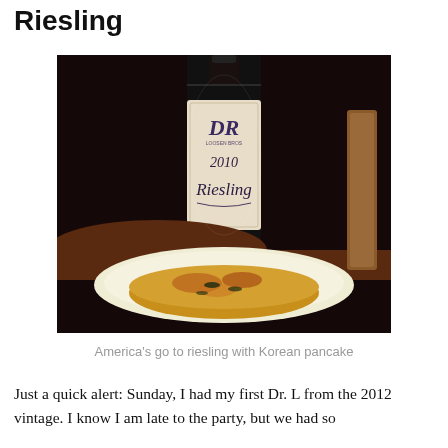Riesling
[Figure (photo): A bottle of Dr. L 2010 Riesling wine with its label visible, placed behind a white plate containing Korean pancake (pajeon), photographed in a dark, moody setting.]
America's go to riesling with Korean pancake
Just a quick alert: Sunday, I had my first Dr. L from the 2012 vintage. I know I am late to the party, but we had so